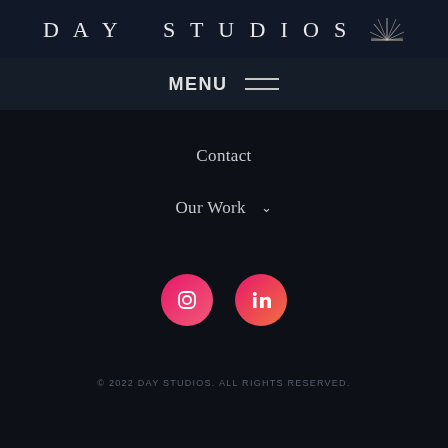DAY STUDIOS
MENU
Contact
Our Work
[Figure (illustration): Instagram and LinkedIn social media icon buttons, pink/red gradient circular buttons with white icons]
© 2022 DAY STUDIOS. ALL RIGHTS RESERVED.